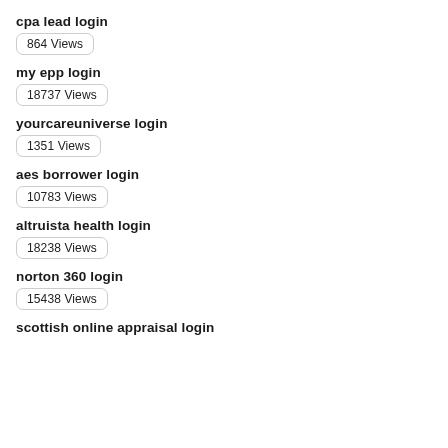cpa lead login
864 Views
my epp login
18737 Views
yourcareuniverse login
1351 Views
aes borrower login
10783 Views
altruista health login
18238 Views
norton 360 login
15438 Views
scottish online appraisal login